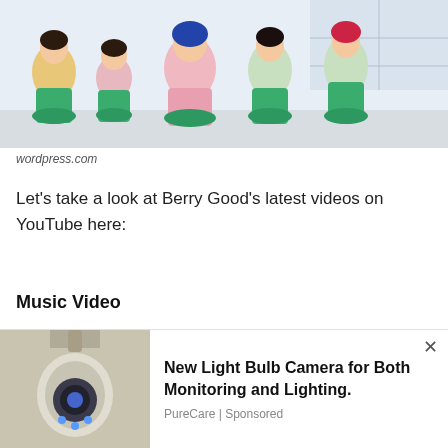[Figure (photo): Five young women in a K-pop music video scene wearing green outfits, one in yellow and one in pink, posing in a bright white room.]
wordpress.com
Let's take a look at Berry Good's latest videos on YouTube here:
Music Video
After releasing the official MV of “ACCIO,” the dance video was released afterward. Berry Good appears with summer
[Figure (photo): Advertisement image showing a light bulb security camera device in beige/white color.]
New Light Bulb Camera for Both Monitoring and Lighting.
PureCare | Sponsored